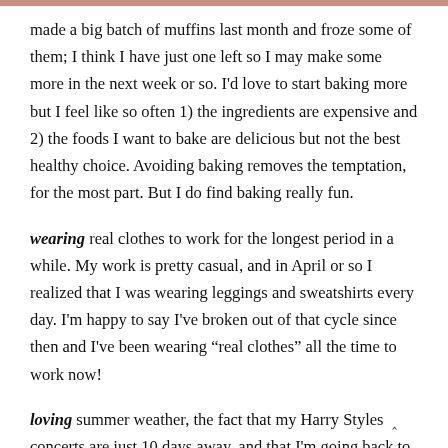made a big batch of muffins last month and froze some of them; I think I have just one left so I may make some more in the next week or so. I'd love to start baking more but I feel like so often 1) the ingredients are expensive and 2) the foods I want to bake are delicious but not the best healthy choice. Avoiding baking removes the temptation, for the most part. But I do find baking really fun.
wearing real clothes to work for the longest period in a while. My work is pretty casual, and in April or so I realized that I was wearing leggings and sweatshirts every day. I'm happy to say I've broken out of that cycle since then and I've been wearing “real clothes” all the time to work now!
loving summer weather, the fact that my Harry Styles concerts are just 10 days away, and that I'm going back to the Town Center and celebrating...